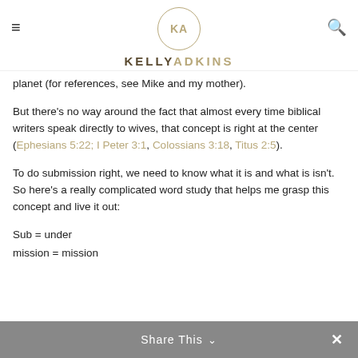KA KELLYADKINS
planet (for references, see Mike and my mother).
But there's no way around the fact that almost every time biblical writers speak directly to wives, that concept is right at the center (Ephesians 5:22; I Peter 3:1, Colossians 3:18, Titus 2:5).
To do submission right, we need to know what it is and what is isn't. So here's a really complicated word study that helps me grasp this concept and live it out:
Sub = under
mission = mission
Share This ∨  ×